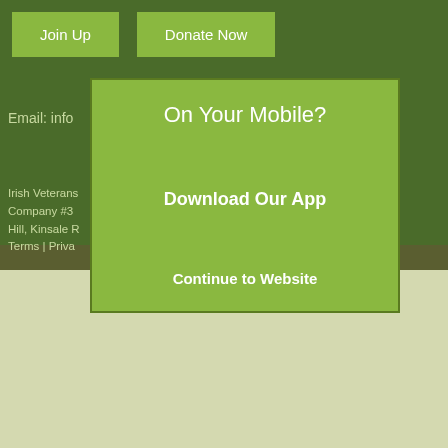Join Up
Donate Now
Email: info
[Figure (other): Modal popup box with light green background containing text: 'On Your Mobile?', 'Download Our App', and 'Continue to Website']
Irish Veterans guarantee. Company #3 , Compass Hill, Kinsale R #20048297 Terms | Priva